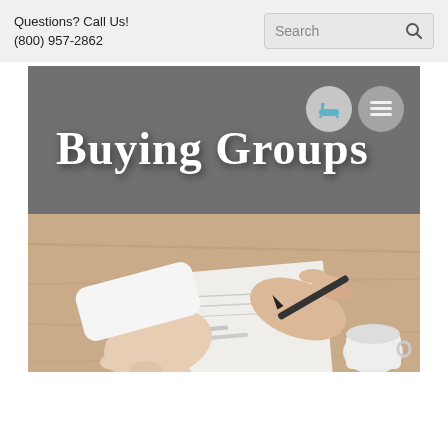Questions? Call Us!
(800) 957-2862
[Figure (screenshot): Website screenshot showing 'Buying Groups' banner with dark grey background and two circular icons in top right, overlaid on a photo of hands signing a document on a wooden table with a coffee cup]
Buying Groups